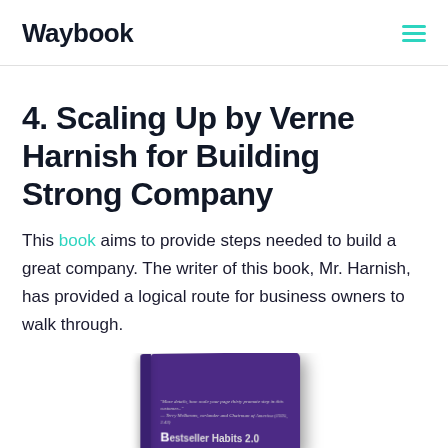Waybook
4. Scaling Up by Verne Harnish for Building Strong Company
This book aims to provide steps needed to build a great company. The writer of this book, Mr. Harnish, has provided a logical route for business owners to walk through.
[Figure (photo): Partial view of a book cover with purple background showing book title text, partially cropped at bottom of page]